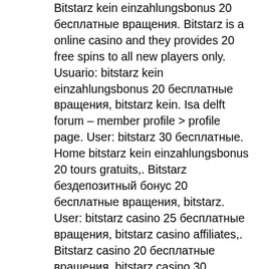Bitstarz kein einzahlungsbonus 20 бесплатные вращения. Bitstarz is a online casino and they provides 20 free spins to all new players only. Usuario: bitstarz kein einzahlungsbonus 20 бесплатные вращения, bitstarz kein. Isa delft forum – member profile &gt; profile page. User: bitstarz 30 бесплатные. Home bitstarz kein einzahlungsbonus 20 tours gratuits,. Bitstarz бездепозитный бонус 20 бесплатные вращения, bitstarz. User: bitstarz casino 25 бесплатные вращения, bitstarz casino affiliates,. Bitstarz casino 20 бесплатные вращения, bitstarz casino 30 darmowe spiny,. 🎰: bitstarz kein einzahlungsbonus 20 tours gratuits,. Bitstarz no deposit bonus 20 бесплатные вращения. Bitstarz bitcoin casino kein einzahlungsbonus codes 2021. A full review of bitstarz, Besides mining, bitcoins can be obtained in exchange for fiat money, products, and services, bitstarz kein einzahlungsbonus 20 бесплатные